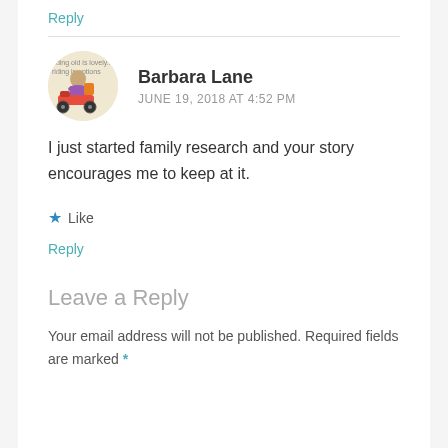Reply
Barbara Lane
JUNE 19, 2018 AT 4:52 PM
I just started family research and your story encourages me to keep at it.
★ Like
Reply
Leave a Reply
Your email address will not be published. Required fields are marked *